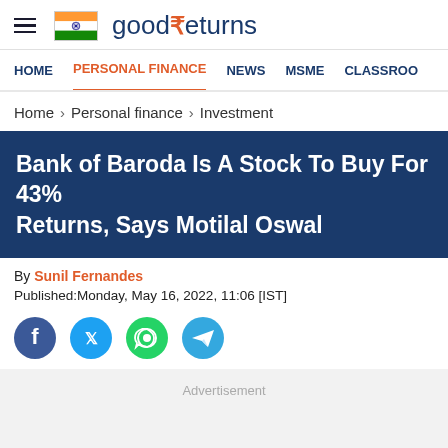good₹eturns
HOME | PERSONAL FINANCE | NEWS | MSME | CLASSROOM
Home > Personal finance > Investment
Bank of Baroda Is A Stock To Buy For 43% Returns, Says Motilal Oswal
By Sunil Fernandes
Published:Monday, May 16, 2022, 11:06 [IST]
Advertisement